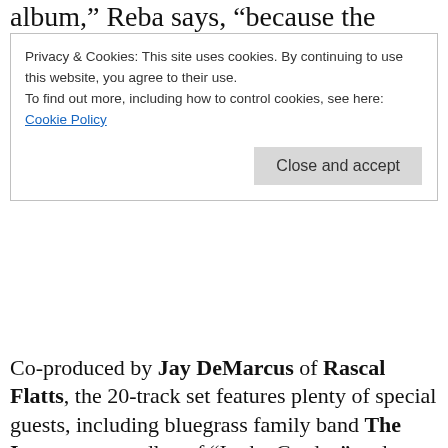album,” Reba says, “because the message
Privacy & Cookies: This site uses cookies. By continuing to use this website, you agree to their use.
To find out more, including how to control cookies, see here:
Cookie Policy

Close and accept
Co-produced by Jay DeMarcus of Rascal Flatts, the 20-track set features plenty of special guests, including bluegrass family band The Isaacs on a medley of “In the Garden” and “Wonderful Peace.” Kelly Clarkson and Trisha Yearwood join the icon for a new take on “Softly and Tenderly,”
Harkening back to their beginning as the Singing McEntires, Reba’s mother Jackie